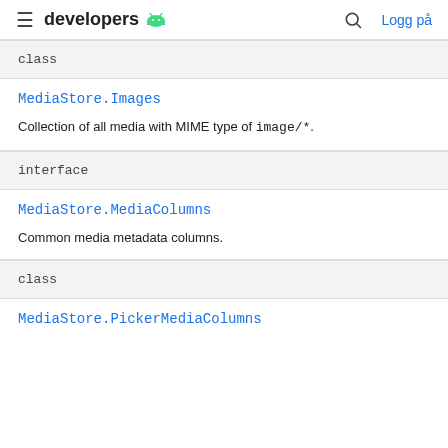developers [android logo] [search] Logg på
class
MediaStore.Images
Collection of all media with MIME type of image/*.
interface
MediaStore.MediaColumns
Common media metadata columns.
class
MediaStore.PickerMediaColumns